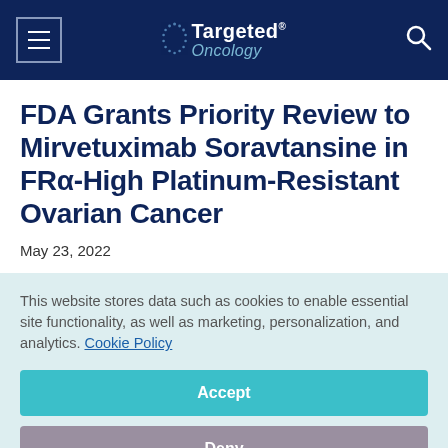Targeted Oncology
FDA Grants Priority Review to Mirvetuximab Soravtansine in FRα-High Platinum-Resistant Ovarian Cancer
May 23, 2022
This website stores data such as cookies to enable essential site functionality, as well as marketing, personalization, and analytics. Cookie Policy
Accept
Deny